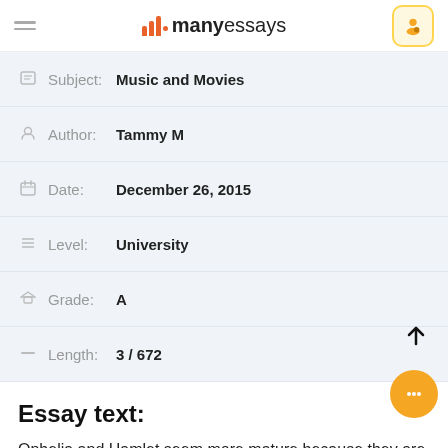manyessays
| Field | Value |
| --- | --- |
| Subject: | Music and Movies |
| Author: | Tammy M |
| Date: | December 26, 2015 |
| Level: | University |
| Grade: | A |
| Length: | 3 / 672 |
Essay text:
Ophelia and Hamlet seem more mature because they are